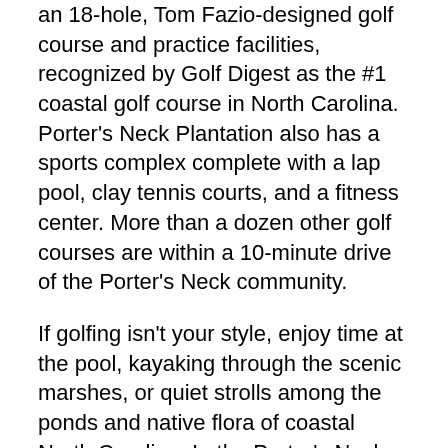an 18-hole, Tom Fazio-designed golf course and practice facilities, recognized by Golf Digest as the #1 coastal golf course in North Carolina. Porter's Neck Plantation also has a sports complex complete with a lap pool, clay tennis courts, and a fitness center. More than a dozen other golf courses are within a 10-minute drive of the Porter's Neck community.
If golfing isn't your style, enjoy time at the pool, kayaking through the scenic marshes, or quiet strolls among the ponds and native flora of coastal North Carolina. In the Porter's Neck communities, you will find piers and boat ramps on the Intracoastal Waterway which allow access to local beaches and restaurants by boat. In fact, boating, sailing, and fishing, whether in creeks, marshes, or the Atlantic Ocean, are everyday pleasures in this coastal community.
Porter's Neck Country Club offers a variety of recreation, dining and social activities in a friendly, family-oriented